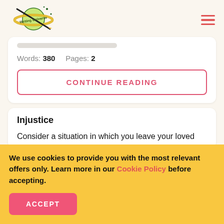Writing Universe logo and navigation menu
Words: 380   Pages: 2
CONTINUE READING
Injustice
Consider a situation in which you leave your loved
We use cookies to provide you with the most relevant offers only. Learn more in our Cookie Policy before accepting.
ACCEPT